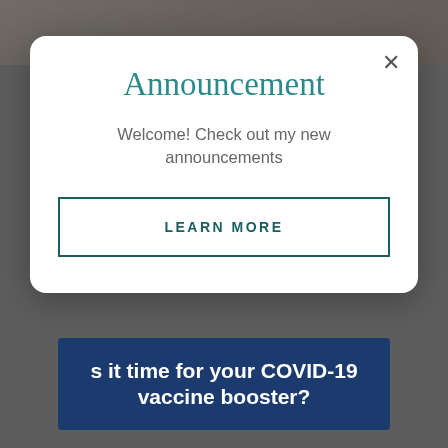[Figure (screenshot): Background showing top portion of a person's face/neck, dimmed with dark overlay]
[Figure (screenshot): Dark navy blue banner with bold white text: 's it time for your COVID-19 vaccine booster?']
Vaccines Authorized For
Children 4 years and under:
None
Children 5-11 years old:
Announcement
Welcome! Check out my new announcements
LEARN MORE